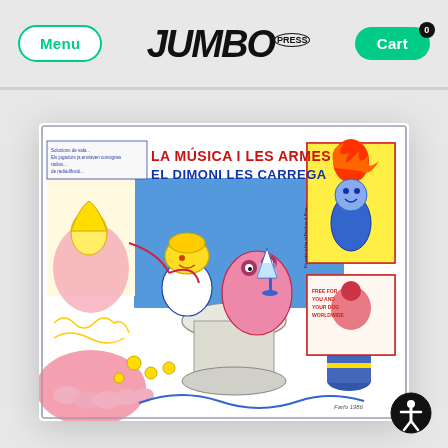Menu | JUMBO PRESS | Cart 0
[Figure (illustration): Colorful psychedelic illustration titled 'LA MÚSICA I LES ARMES EL DIMONI LES CARREGA' featuring cartoon-style characters, a feast scene, musical and fantastical elements in red, blue, yellow, green, and pink colors on a white background with a thin border.]